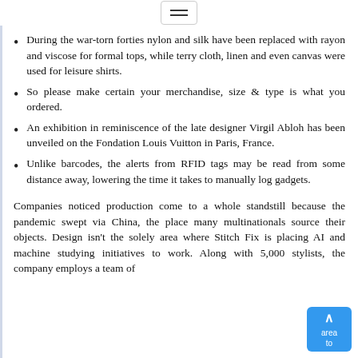≡
During the war-torn forties nylon and silk have been replaced with rayon and viscose for formal tops, while terry cloth, linen and even canvas were used for leisure shirts.
So please make certain your merchandise, size & type is what you ordered.
An exhibition in reminiscence of the late designer Virgil Abloh has been unveiled on the Fondation Louis Vuitton in Paris, France.
Unlike barcodes, the alerts from RFID tags may be read from some distance away, lowering the time it takes to manually log gadgets.
Companies noticed production come to a whole standstill because the pandemic swept via China, the place many multinationals source their objects. Design isn't the solely area where Stitch Fix is placing AI and machine studying initiatives to work. Along with 5,000 stylists, the company employs a team of